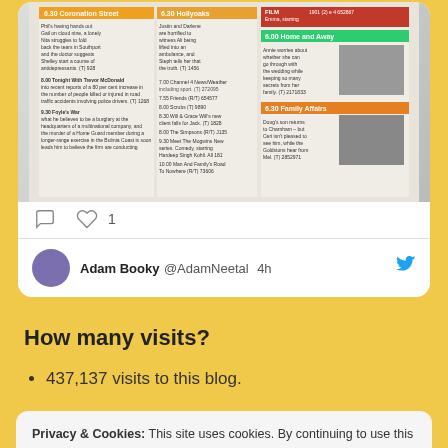[Figure (screenshot): Screenshot of a Twitter/social media card showing a newspaper TV guide image with multiple columns of TV listings. Shows comment and like icons, with 1 like.]
Adam Booky @AdamNeetal 4h
How many visits?
437,137 visits to this blog.
Privacy & Cookies: This site uses cookies. By continuing to use this website, you agree to their use.
To find out more, including how to control cookies, see here: Cookie Policy
Close and accept